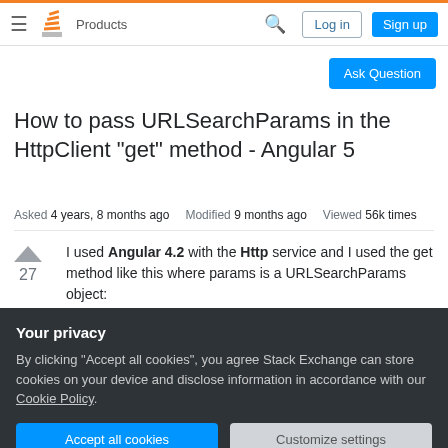Stack Overflow navigation bar with hamburger menu, SO logo, Products, search icon, Log in, Sign up
How to pass URLSearchParams in the HttpClient "get" method - Angular 5
Asked 4 years, 8 months ago   Modified 9 months ago   Viewed 56k times
I used Angular 4.2 with the Http service and I used the get method like this where params is a URLSearchParams object:
Your privacy
By clicking "Accept all cookies", you agree Stack Exchange can store cookies on your device and disclose information in accordance with our Cookie Policy.
team. I got an error with the 'search' key.